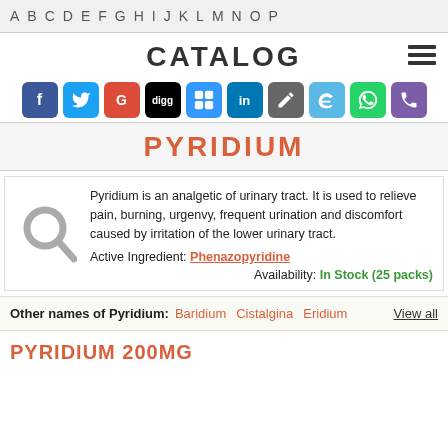A B C D E F G H I J K L M N O P
CATALOG
[Figure (infographic): Row of social media sharing icons: Facebook, Twitter, Google+, Digg, Delicious, LinkedIn, Pinterest, Twitter bird, WhatsApp, Phone]
PYRIDIUM
Pyridium is an analgetic of urinary tract. It is used to relieve pain, burning, urgenvy, frequent urination and discomfort caused by irritation of the lower urinary tract.
Active Ingredient: Phenazopyridine
Availability: In Stock (25 packs)
Other names of Pyridium: Baridium Cistalgina Eridium View all
PYRIDIUM 200MG